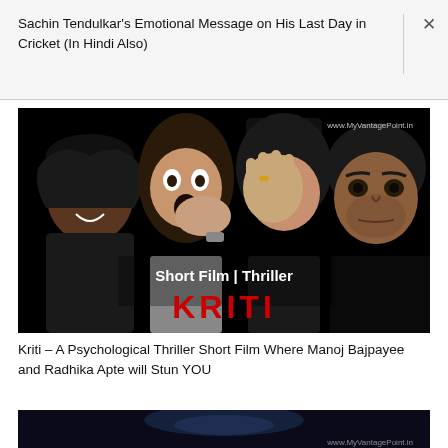Sachin Tendulkar's Emotional Message on His Last Day in Cricket (In Hindi Also)
[Figure (photo): Promotional poster for short thriller film 'Kriti' featuring four actors on black background. Text reads 'Short Film | Thriller' and 'KRITI' in red horror font. Watermark: www.MyVantagePoint.in]
Kriti – A Psychological Thriller Short Film Where Manoj Bajpayee and Radhika Apte will Stun YOU
[Figure (photo): Partially visible second thumbnail image at bottom of page with watermark www.MyVantagePoint.in]